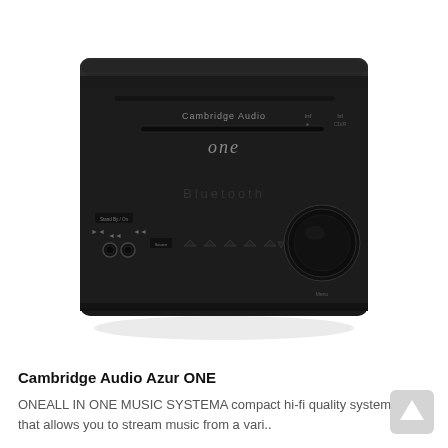[Figure (photo): Front view of Cambridge Audio Azur ONE all-in-one music system, a black compact hi-fi unit with CD slot, Bluetooth label, control knob, and various buttons on the front panel.]
Cambridge Audio Azur ONE
ONEALL IN ONE MUSIC SYSTEMA compact hi-fi quality system that allows you to stream music from a vari..